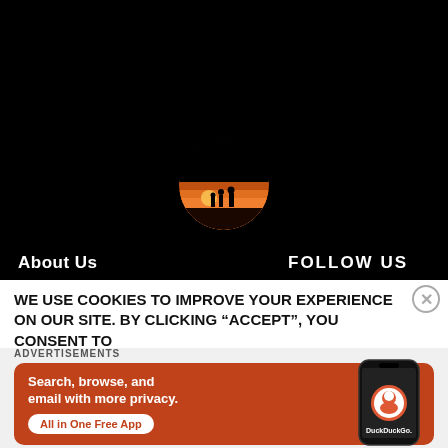[Figure (photo): Dark/black background with a circular image in the center showing silhouettes of people at sunset]
About Us
FOLLOW US
WE USE COOKIES TO IMPROVE YOUR EXPERIENCE ON OUR SITE. BY CLICKING “ACCEPT”, YOU CONSENT TO
ADVERTISEMENTS
[Figure (screenshot): DuckDuckGo advertisement banner: orange background with phone image showing DuckDuckGo app. Text: Search, browse, and email with more privacy. All in One Free App]